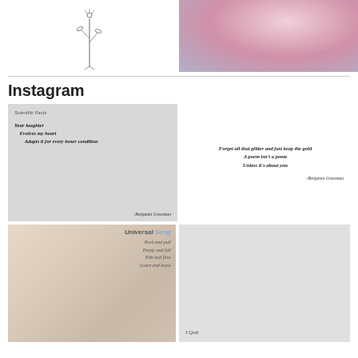[Figure (illustration): Line drawing of a single flower stem with small blossoms]
[Figure (photo): Close-up photo of pink cherry blossom flowers with soft bokeh background]
Instagram
[Figure (illustration): Gray background Instagram post with poem: Scientific Facts / Your laughter / Evolves my heart / Adapts it for every inner condition / -Benjamin Grossman]
[Figure (illustration): White background Instagram post with poem: Forget all that glitter and just keep the gold / A poem isn't a poem / Unless it's about you / -Benjamin Grossman]
[Figure (illustration): Blurry photo background Instagram post with text: Universal Song / Push and pull / Empty and full / Ebb and flow / Learn and know]
[Figure (illustration): Light gray Instagram post with text: I Quit]